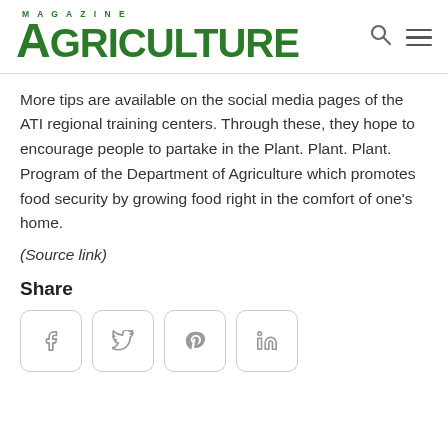AGRICULTURE MAGAZINE
More tips are available on the social media pages of the ATI regional training centers. Through these, they hope to encourage people to partake in the Plant. Plant. Plant. Program of the Department of Agriculture which promotes food security by growing food right in the comfort of one's home.
(Source link)
Share
[Figure (other): Row of four social media share buttons: Facebook, Twitter, Pinterest, LinkedIn]